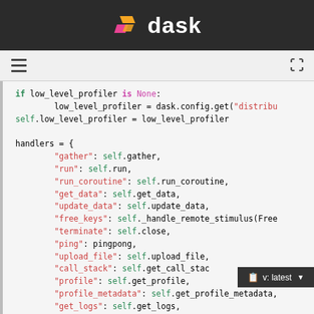dask
[Figure (screenshot): Python source code showing handlers dictionary with syntax highlighting on a dark-light background. Code includes if statement for low_level_profiler and a handlers dict with keys: gather, run, run_coroutine, get_data, update_data, free_keys, terminate, ping, upload_file, call_stack, profile, profile_metadata, get_logs, keys.]